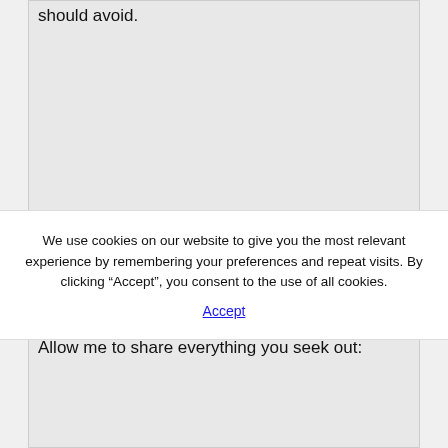should avoid.
We use cookies on our website to give you the most relevant experience by remembering your preferences and repeat visits. By clicking “Accept”, you consent to the use of all cookies.
Accept
Allow me to share everything you seek out: